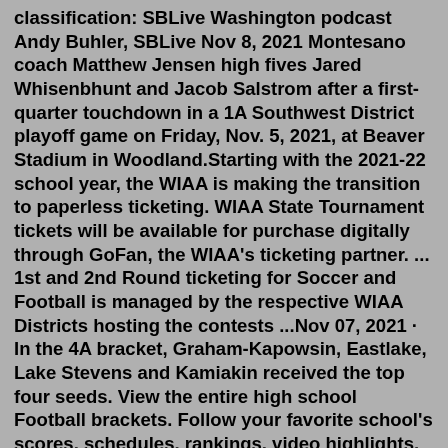classification: SBLive Washington podcast Andy Buhler, SBLive Nov 8, 2021 Montesano coach Matthew Jensen high fives Jared Whisenbhunt and Jacob Salstrom after a first-quarter touchdown in a 1A Southwest District playoff game on Friday, Nov. 5, 2021, at Beaver Stadium in Woodland.Starting with the 2021-22 school year, the WIAA is making the transition to paperless ticketing. WIAA State Tournament tickets will be available for purchase digitally through GoFan, the WIAA's ticketing partner. ... 1st and 2nd Round ticketing for Soccer and Football is managed by the respective WIAA Districts hosting the contests ...Nov 07, 2021 · In the 4A bracket, Graham-Kapowsin, Eastlake, Lake Stevens and Kamiakin received the top four seeds. View the entire high school Football brackets. Follow your favorite school's scores, schedules, rankings, video highlights, articles and more at sblivesports.com and scorebooklive.com WIAA 2021 Boys Football Tournament - Division 5 [Last Updated: 11-19-2021 - 11:39AM] Brackets shown in sectional pairings. Cli...